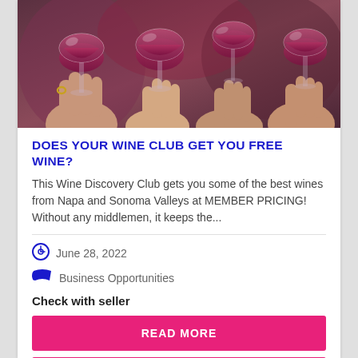[Figure (photo): Multiple hands holding red wine glasses clinking together in a toast, with a blurred background.]
DOES YOUR WINE CLUB GET YOU FREE WINE?
This Wine Discovery Club gets you some of the best wines from Napa and Sonoma Valleys at MEMBER PRICING! Without any middlemen, it keeps the...
June 28, 2022
Business Opportunities
Check with seller
READ MORE
VIEW WEBSITE